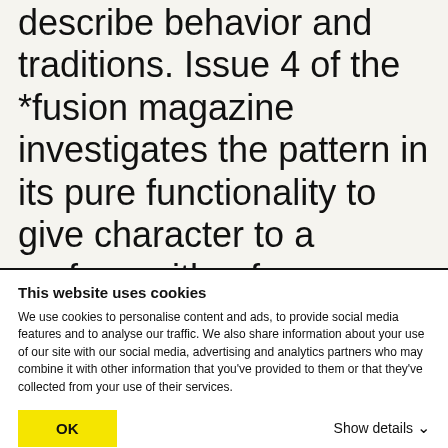describe behavior and traditions. Issue 4 of the *fusion magazine investigates the pattern in its pure functionality to give character to a surface with a focus on German and Finnish ´pattern-culture´. Patterns, structures and ornaments are important components of visual identity. Starting from early textile patterns — sometimes because of
This website uses cookies
We use cookies to personalise content and ads, to provide social media features and to analyse our traffic. We also share information about your use of our site with our social media, advertising and analytics partners who may combine it with other information that you've provided to them or that they've collected from your use of their services.
OK
Show details